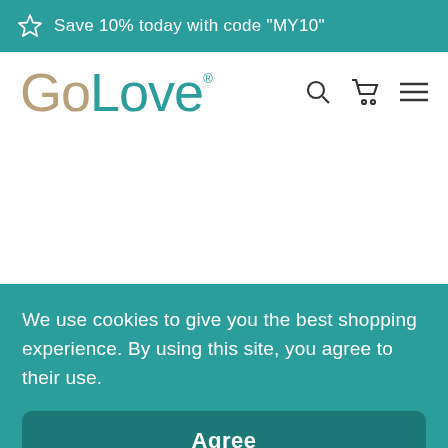Save 10% today with code "MY10"
[Figure (logo): GoLove brand logo with search, cart, and menu icons]
We use cookies to give you the best shopping experience. By using this site, you agree to their use.
Agree